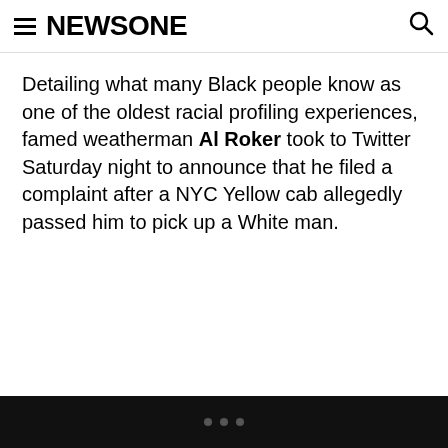NEWSONE
Detailing what many Black people know as one of the oldest racial profiling experiences, famed weatherman Al Roker took to Twitter Saturday night to announce that he filed a complaint after a NYC Yellow cab allegedly passed him to pick up a White man.